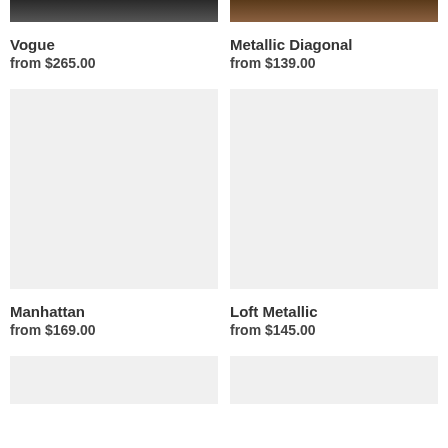[Figure (photo): Top portion of a dark product photo for Vogue]
[Figure (photo): Top portion of a brown/wooden product photo for Metallic Diagonal]
Vogue
from $265.00
Metallic Diagonal
from $139.00
[Figure (photo): Light gray placeholder image for Manhattan product]
[Figure (photo): Light gray placeholder image for Loft Metallic product]
Manhattan
from $169.00
Loft Metallic
from $145.00
[Figure (photo): Bottom partial placeholder image left]
[Figure (photo): Bottom partial placeholder image right]